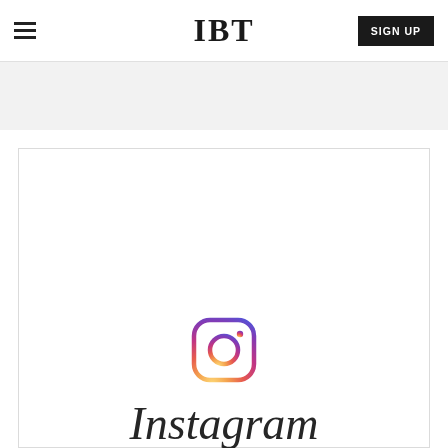IBT | SIGN UP
[Figure (logo): Instagram logo icon with gradient (purple to orange) camera outline]
Instagram
The link to this photo or video may be broken, or the post may have been